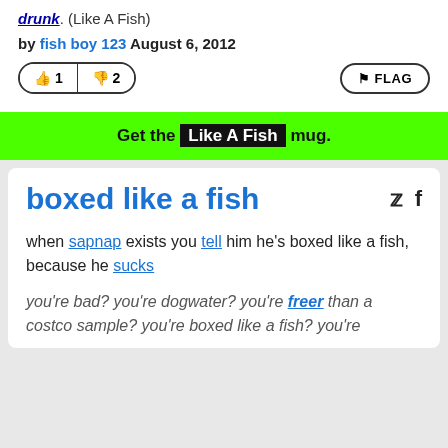drunk. (Like A Fish)
by fish boy 123 August 6, 2012
[Figure (other): Vote buttons: thumbs up 1, thumbs down 2, and FLAG button]
Get the Like A Fish mug.
boxed like a fish
when sapnap exists you tell him he's boxed like a fish, because he sucks
you're bad? you're dogwater? you're freer than a costco sample? you're boxed like a fish? you're